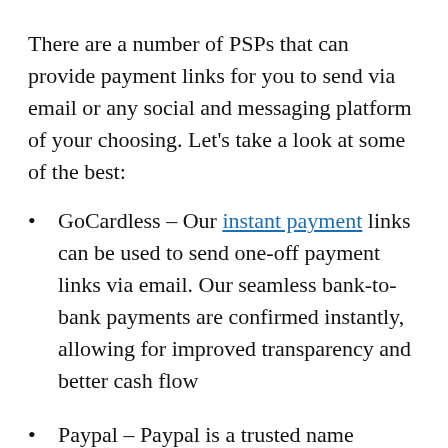There are a number of PSPs that can provide payment links for you to send via email or any social and messaging platform of your choosing. Let's take a look at some of the best:
GoCardless – Our instant payment links can be used to send one-off payment   links via email. Our seamless bank-to-bank payments are confirmed instantly,   allowing for improved transparency and better cash flow
Paypal – Paypal is a trusted name amongst consumers, and it features reusable   links that can facilitate simple payments
Worldpay – Worldpay makes it easy to send